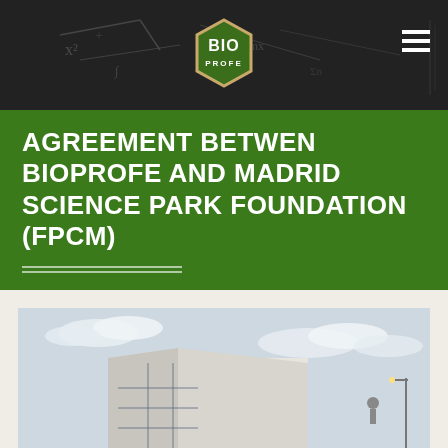[Figure (photo): Dark header photo showing a chalkboard with mathematical/biological formulas in the background]
[Figure (logo): BioProfe hexagonal logo — green hexagon with 'BIO' in large text and 'PROFE' below]
AGREEMENT BETWEN BIOPROFE AND MADRID SCIENCE PARK FOUNDATION (FPCM)
[Figure (photo): Photo of a modern white building against a partly cloudy sky — Madrid Science Park Foundation building]